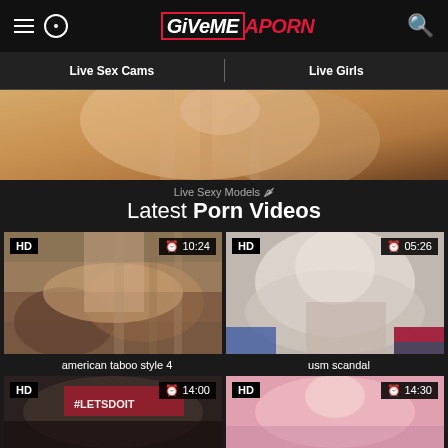GiveMeAPorn - header navigation
Live Sex Cams | Live Girls
[Figure (photo): Banner image showing close-up skin tones, promotional banner]
Live Sexy Models 🌶
Latest Porn Videos
[Figure (photo): Video thumbnail for 'american taboo style 4', HD, duration 10:24]
american taboo style 4
[Figure (photo): Video thumbnail for 'usm scandal', HD, duration 05:26]
usm scandal
[Figure (photo): Video thumbnail bottom left, HD, duration 14:00, #LETSDOIT tag]
[Figure (photo): Video thumbnail bottom right, HD, duration 14:30]